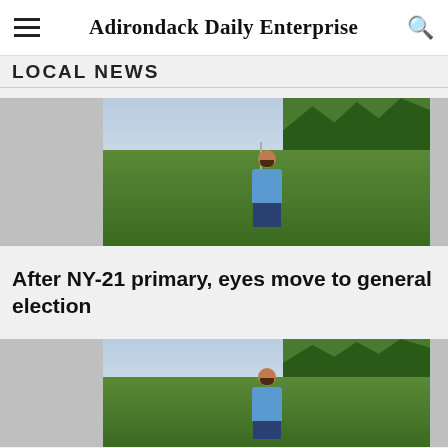Adirondack Daily Enterprise
LOCAL NEWS
[Figure (photo): Man in blue t-shirt and jeans standing on a grass lawn with trees in the background]
After NY-21 primary, eyes move to general election
[Figure (photo): Same man in blue t-shirt standing on grass lawn with trees in the background (second article card, partially visible)]